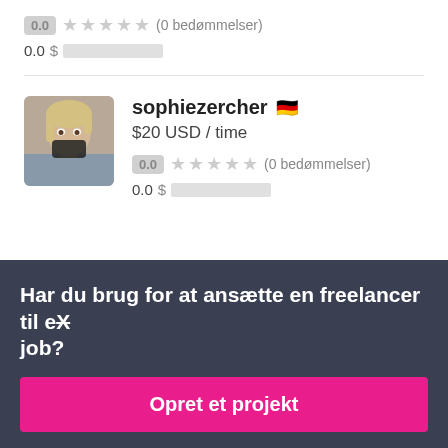0.0 ★★★★★ (0 bedømmelser)
0.0 $
sophiezercher 🇩🇪
$20 USD / time
0.0 ★★★★★ (0 bedømmelser)
0.0 $
Har du brug for at ansætte en freelancer til et job?
Opret et projekt